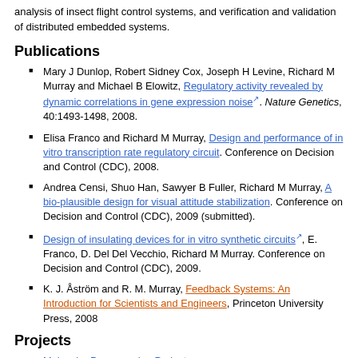analysis of insect flight control systems, and verification and validation of distributed embedded systems.
Publications
Mary J Dunlop, Robert Sidney Cox, Joseph H Levine, Richard M Murray and Michael B Elowitz, Regulatory activity revealed by dynamic correlations in gene expression noise. Nature Genetics, 40:1493-1498, 2008.
Elisa Franco and Richard M Murray, Design and performance of in vitro transcription rate regulatory circuit. Conference on Decision and Control (CDC), 2008.
Andrea Censi, Shuo Han, Sawyer B Fuller, Richard M Murray, A bio-plausible design for visual attitude stabilization. Conference on Decision and Control (CDC), 2009 (submitted).
Design of insulating devices for in vitro synthetic circuits, E. Franco, D. Del Del Vecchio, Richard M Murray. Conference on Decision and Control (CDC), 2009.
K. J. Åström and R. M. Murray, Feedback Systems: An Introduction for Scientists and Engineers, Princeton University Press, 2008
Projects
Molecular Programming Project
Networked Feedback Systems in Biology
Characterization of Insect Flight Control Systems